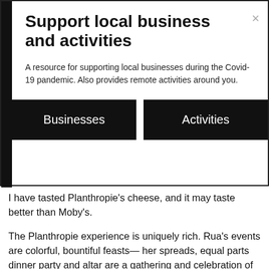Support local business and activities
A resource for supporting local businesses during the Covid-19 pandemic. Also provides remote activities around you.
Businesses
Activities
I have tasted Planthropie's cheese, and it may taste better than Moby's.
The Planthropie experience is uniquely rich. Rua's events are colorful, bountiful feasts— her spreads, equal parts dinner party and altar are a gathering and celebration of nature's gifts. Her own plant based adventures began when she discovered her newborn's dairy allergy. Faced with a challenge, the artist took to the kitchen and came forth with abundance.